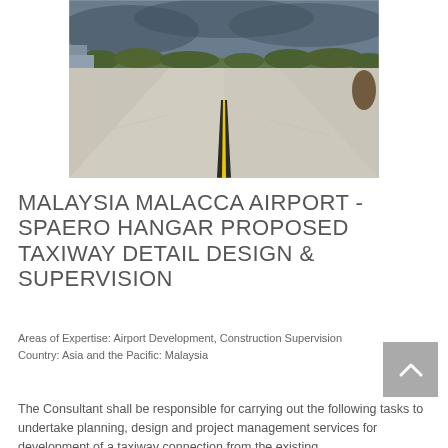[Figure (photo): Airport taxiway with yellow center line marking, concrete surface extending to the horizon, overcast sky, trees and buildings in background]
MALAYSIA MALACCA AIRPORT - SPAERO HANGAR PROPOSED TAXIWAY DETAIL DESIGN & SUPERVISION
Areas of Expertise: Airport Development, Construction Supervision
Country: Asia and the Pacific: Malaysia
The Consultant shall be responsible for carrying out the following tasks to undertake planning, design and project management services for development of a taxiway connection from the existing...